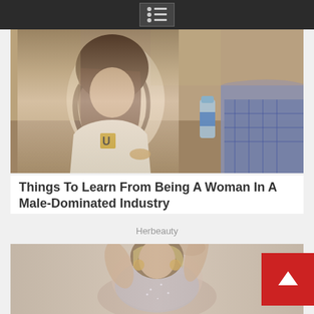Navigation menu icon
[Figure (photo): A woman with dark curly hair wearing a white shirt with a gold letter U patch, sitting at a table. A man in a blue checkered shirt is partially visible on the right. A water bottle is visible in the background.]
Things To Learn From Being A Woman In A Male-Dominated Industry
Herbeauty
[Figure (photo): A curvy woman with highlighted hair wearing a silver/pink sleeveless top, posing with her hand behind her head.]